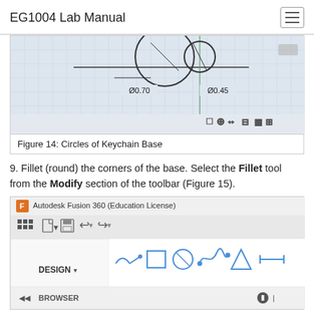EG1004 Lab Manual
[Figure (screenshot): Autodesk Fusion 360 CAD drawing showing two circles of the keychain base with dimensions Ø0.70 and Ø0.45 on a grid background with toolbar icons at bottom.]
Figure 14: Circles of Keychain Base
9. Fillet (round) the corners of the base. Select the Fillet tool from the Modify section of the toolbar (Figure 15).
[Figure (screenshot): Autodesk Fusion 360 (Education License) toolbar screenshot showing DESIGN menu, SOLID, SURFACE, SHEET METAL tabs, and CREATE section with sketch/shape tool icons, plus BROWSER panel at bottom.]